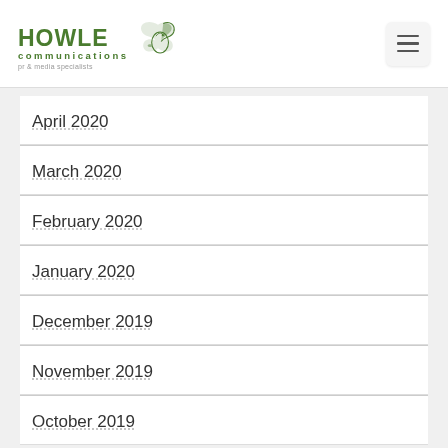Howe Communications — pr & media specialists
April 2020
March 2020
February 2020
January 2020
December 2019
November 2019
October 2019